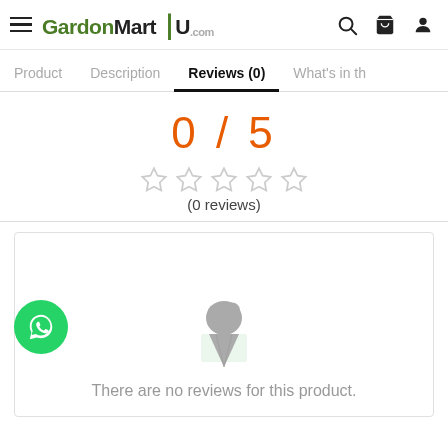GardenMart HU.com — hamburger menu, search, cart, profile icons
Product | Description | Reviews (0) | What's in th
0 / 5
[Figure (other): Five empty star outlines representing zero rating]
(0 reviews)
There are no reviews for this product.